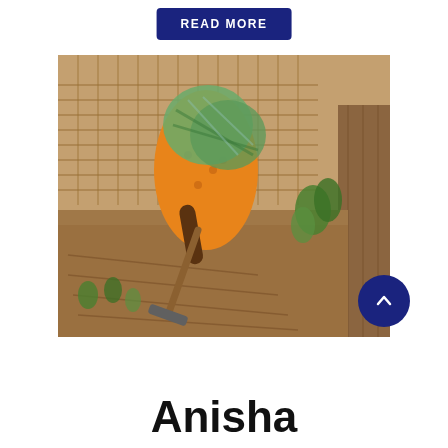READ MORE
[Figure (photo): A woman in an orange printed dress and green plaid headscarf/shawl, bent over tilling soil with a hand hoe in a small garden plot. Woven fence and plants visible in the background.]
Anisha